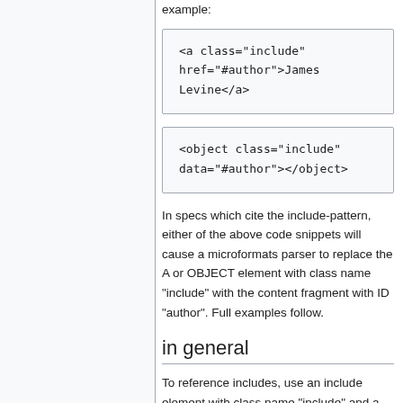example:
<a class="include" href="#author">James Levine</a>
<object class="include" data="#author"></object>
In specs which cite the include-pattern, either of the above code snippets will cause a microformats parser to replace the A or OBJECT element with class name "include" with the content fragment with ID "author". Full examples follow.
in general
To reference includes, use an include element with class name "include" and a